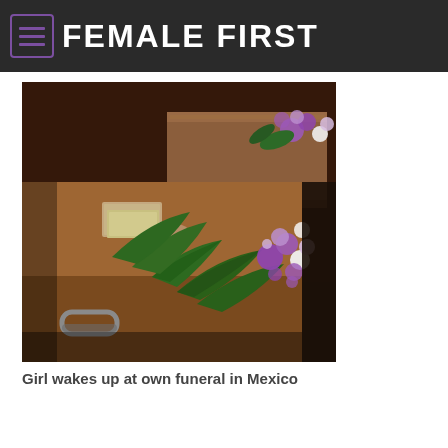FEMALE FIRST
[Figure (photo): Two wooden coffins in a dimly lit room, adorned with purple and white flowers and green leaves. The foreground coffin has a metal handle and a name plate, with large green tropical leaves resting on top alongside purple floral arrangements.]
Girl wakes up at own funeral in Mexico